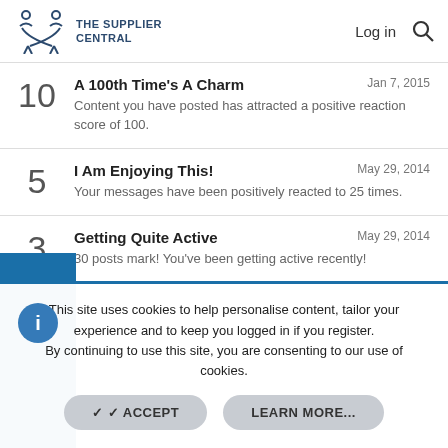THE SUPPLIER CENTRAL | Log in | Search
10 | A 100th Time's A Charm | Jan 7, 2015 | Content you have posted has attracted a positive reaction score of 100.
5 | I Am Enjoying This! | May 29, 2014 | Your messages have been positively reacted to 25 times.
3 | Getting Quite Active | May 29, 2014 | 30 posts mark! You've been getting active recently!
This site uses cookies to help personalise content, tailor your experience and to keep you logged in if you register. By continuing to use this site, you are consenting to our use of cookies.